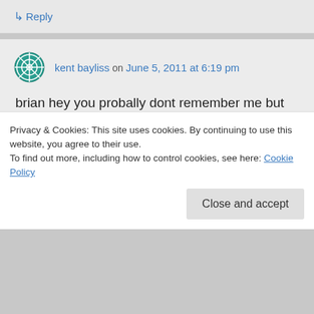↳ Reply
kent bayliss on June 5, 2011 at 6:19 pm
brian hey you probally dont remember me but im that guy that would hang out with you and wolfgang back in the day remember when you got me in to rafters (the best bar ever known to man ) and helped me meet mark slaughter well i went
Privacy & Cookies: This site uses cookies. By continuing to use this website, you agree to their use.
To find out more, including how to control cookies, see here: Cookie Policy
Close and accept